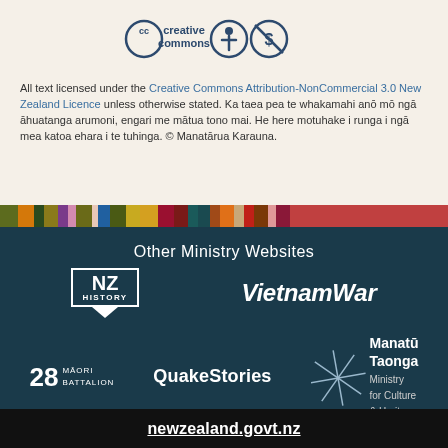[Figure (logo): Creative Commons logo with attribution (person icon) and non-commercial (no dollar sign) icons]
All text licensed under the Creative Commons Attribution-NonCommercial 3.0 New Zealand Licence unless otherwise stated. Ka taea pea te whakamahi anō mō ngā āhuatanga arumoni, engari me mātua tono mai. He here motuhake i runga i ngā mea katoa ehara i te tuhinga. © Manatārua Karauna.
[Figure (infographic): Horizontal multi-color stripe bar with segments in olive, orange, dark green, gold, purple, pink, dark olive, light pink, blue, dark olive, gold, mustard, crimson, dark red, teal, dark teal, sienna, orange, tan, red, brown, pink, burgundy]
Other Ministry Websites
[Figure (logo): NZ History logo - white box with NZ large and HISTORY small text below, with chevron pointing down]
[Figure (logo): VietnamWar text logo in bold white italic]
[Figure (logo): 28 Māori Battalion logo]
[Figure (logo): QuakeStories text logo in white bold]
[Figure (logo): Asterisk/compass star decorative element for Manatū Taonga Ministry for Culture & Heritage]
[Figure (logo): Manatū Taonga Ministry for Culture & Heritage text logo]
newzealand.govt.nz